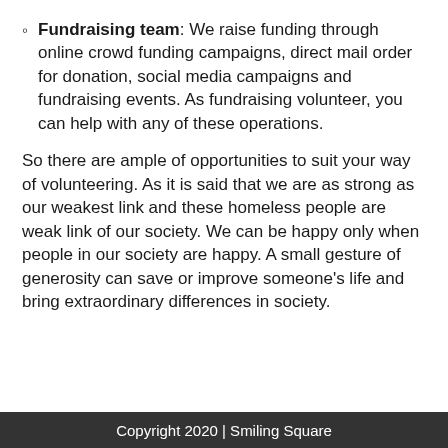Fundraising team: We raise funding through online crowd funding campaigns, direct mail order for donation, social media campaigns and fundraising events. As fundraising volunteer, you can help with any of these operations.
So there are ample of opportunities to suit your way of volunteering. As it is said that we are as strong as our weakest link and these homeless people are weak link of our society. We can be happy only when people in our society are happy. A small gesture of generosity can save or improve someone's life and bring extraordinary differences in society.
Copyright 2020 | Smiling Square